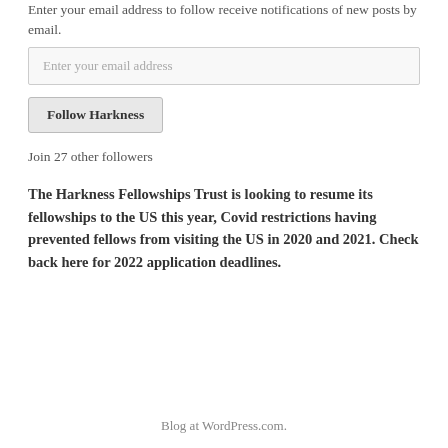Enter your email address to follow receive notifications of new posts by email.
Enter your email address
Follow Harkness
Join 27 other followers
The Harkness Fellowships Trust is looking to resume its fellowships to the US this year, Covid restrictions having prevented fellows from visiting the US in 2020 and 2021. Check back here for 2022 application deadlines.
Blog at WordPress.com.